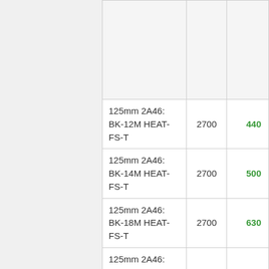| Product | RPM | Price |
| --- | --- | --- |
|  |  |  |
| 125mm 2A46: BK-12M HEAT-FS-T | 2700 | 440 |
| 125mm 2A46: BK-14M HEAT-FS-T | 2700 | 500 |
| 125mm 2A46: BK-18M HEAT-FS-T | 2700 | 630 |
| 125mm 2A46: BK-21B HEAT-FS-T | 2800 | 760 |
| 125mm 2A46: |  |  |